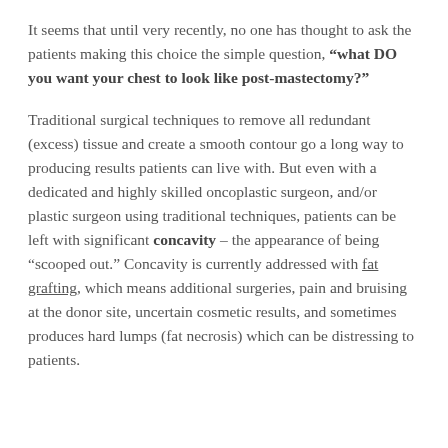It seems that until very recently, no one has thought to ask the patients making this choice the simple question, “what DO you want your chest to look like post-mastectomy?”
Traditional surgical techniques to remove all redundant (excess) tissue and create a smooth contour go a long way to producing results patients can live with. But even with a dedicated and highly skilled oncoplastic surgeon, and/or plastic surgeon using traditional techniques, patients can be left with significant concavity – the appearance of being “scooped out.” Concavity is currently addressed with fat grafting, which means additional surgeries, pain and bruising at the donor site, uncertain cosmetic results, and sometimes produces hard lumps (fat necrosis) which can be distressing to patients.